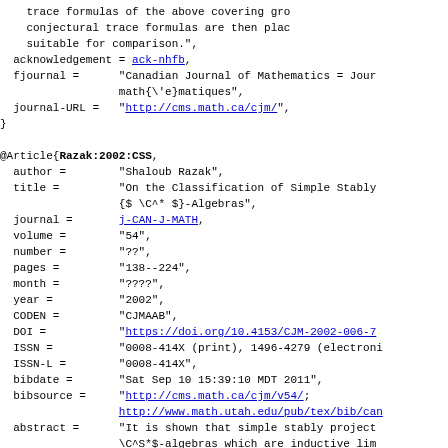trace formulas of the above covering gro conjectural trace formulas are then plac suitable for comparison.",
  acknowledgement = ack-nhfb,
  fjournal =      "Canadian Journal of Mathematics = Journ math{\'e}matiques",
  journal-URL =   "http://cms.math.ca/cjm/",
}

@Article{Razak:2002:CSS,
  author =        "Shaloub Razak",
  title =         "On the Classification of Simple Stably {$ \C^* $}-Algebras",
  journal =       j-CAN-J-MATH,
  volume =        "54",
  number =        "??",
  pages =         "138--224",
  month =         "????",
  year =          "2002",
  CODEN =         "CJMAAB",
  DOI =           "https://doi.org/10.4153/CJM-2002-006-7",
  ISSN =          "0008-414X (print), 1496-4279 (electroni
  ISSN-L =        "0008-414X",
  bibdate =       "Sat Sep 10 15:39:10 MDT 2011",
  bibsource =     "http://cms.math.ca/cjm/v54/; http://www.math.utah.edu/pub/tex/bib/can
  abstract =      "It is shown that simple stably project \C^S*$-algebras which are inductive lim specified building blocks with trivial S are classified by their cone of positive